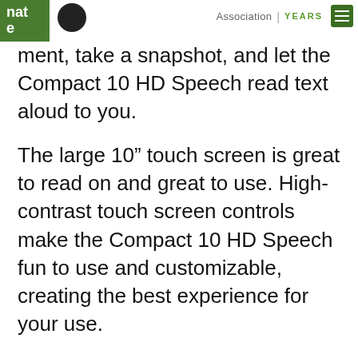nate | Association | YEARS
ment, take a snapshot, and let the Compact 10 HD Speech read text aloud to you.
The large 10” touch screen is great to read on and great to use. High-contrast touch screen controls make the Compact 10 HD Speech fun to use and customizable, creating the best experience for your use.
Optelec Compact 10 HD Speech Flyer
Features
View and magnify text, objects and photos